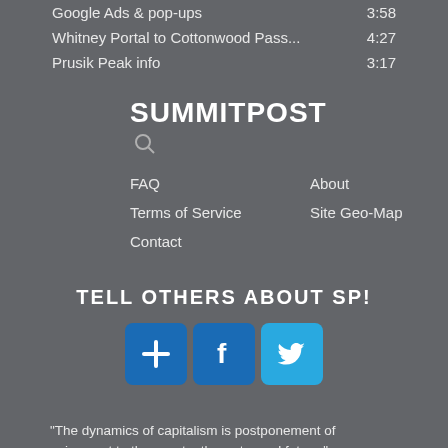Google Ads & pop-ups 3:58
Whitney Portal to Cottonwood Pass... 4:27
Prusik Peak info 3:17
SUMMITPOST
FAQ
About
Terms of Service
Site Geo-Map
Contact
TELL OTHERS ABOUT SP!
[Figure (other): Three social media share buttons: a blue plus/add button, a blue Facebook button, and a light blue Twitter button]
"The dynamics of capitalism is postponement of enjoyment to the constantly postponed future."
© 2006-2021 SummitPost.org. All Rights Reserved.